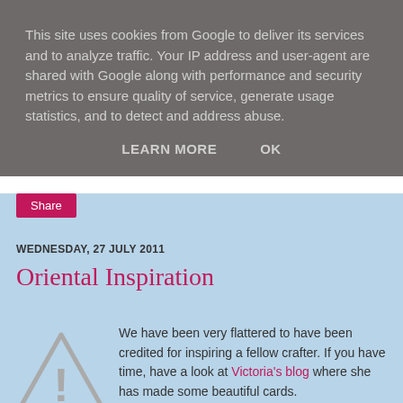This site uses cookies from Google to deliver its services and to analyze traffic. Your IP address and user-agent are shared with Google along with performance and security metrics to ensure quality of service, generate usage statistics, and to detect and address abuse.
LEARN MORE    OK
Share
WEDNESDAY, 27 JULY 2011
Oriental Inspiration
[Figure (illustration): Warning/caution triangle icon with exclamation mark]
We have been very flattered to have been credited for inspiring a fellow crafter. If you have time, have a look at Victoria's blog where she has made some beautiful cards.